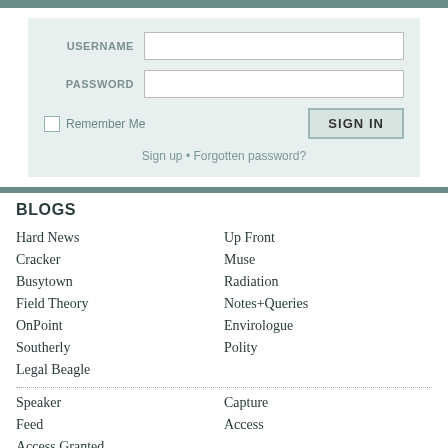[Figure (screenshot): Login form with USERNAME and PASSWORD fields, Remember Me checkbox, SIGN IN button, and Sign up / Forgotten password links on a light teal background]
BLOGS
Hard News
Up Front
Cracker
Muse
Busytown
Radiation
Field Theory
Notes+Queries
OnPoint
Envirologue
Southerly
Polity
Legal Beagle
Speaker
Capture
Feed
Access
Access Granted
Great New Zealand Argument